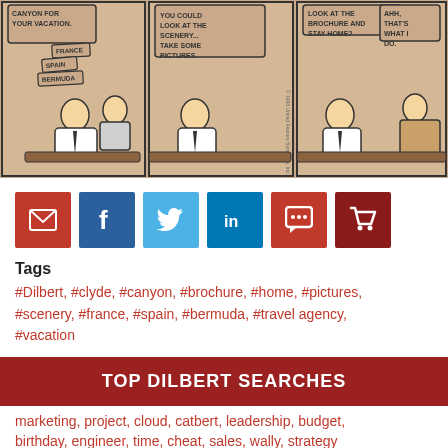[Figure (illustration): Three-panel Dilbert comic strip showing Dilbert talking to a travel agent about vacation destinations. Panel 1: Travel agent mentions France, Spain, Bermuda. Panel 2: Agent suggests looking at scenery and taking pictures. Panel 3: Agent suggests looking at brochure and staying home, Dilbert agrees that's what he does.]
[Figure (infographic): Social sharing buttons row: email (red), facebook (blue), twitter (light blue), linkedin (dark blue), comment (red), cart (dark red)]
Tags
#Dilbert, #clyde, #canyon, #brochure, #home, #pictures, #scenery, #france, #spain, #bermuda, #travel agency, #vacation
View Transcript
TOP DILBERT SEARCHES
marketing, project, cloud, catbert, leadership, budget, birthday, engineer, time, cheat, sales, wally, strategy